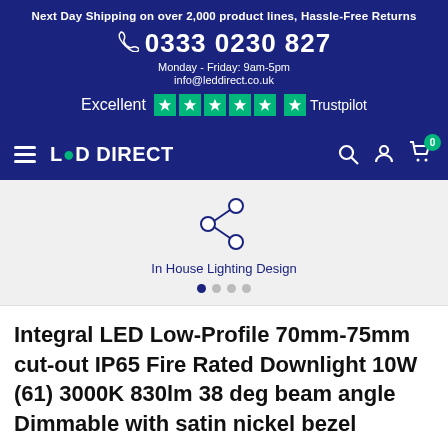Next Day Shipping on over 2,000 product lines, Hassle-Free Returns
0333 0230 827
Monday - Friday: 9am-5pm
info@leddirect.co.uk
Excellent ★★★★★ Trustpilot
LED DIRECT
[Figure (infographic): In House Lighting Design icon with share/network symbol and slider dots]
Integral LED Low-Profile 70mm-75mm cut-out IP65 Fire Rated Downlight 10W (61) 3000K 830lm 38 deg beam angle Dimmable with satin nickel bezel
Product Code: ILDLFR70B016